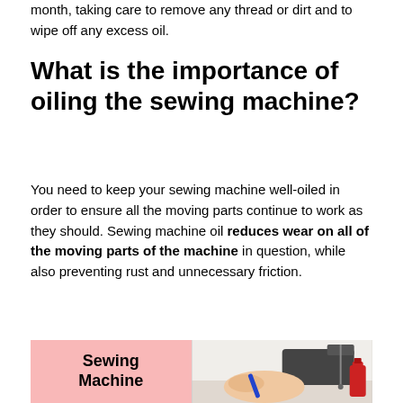month, taking care to remove any thread or dirt and to wipe off any excess oil.
What is the importance of oiling the sewing machine?
You need to keep your sewing machine well-oiled in order to ensure all the moving parts continue to work as they should. Sewing machine oil reduces wear on all of the moving parts of the machine in question, while also preventing rust and unnecessary friction.
[Figure (infographic): Composite image with pink box on left showing text 'Sewing Machine' in bold, and a photo on the right showing hands near a sewing machine with a red oil bottle]